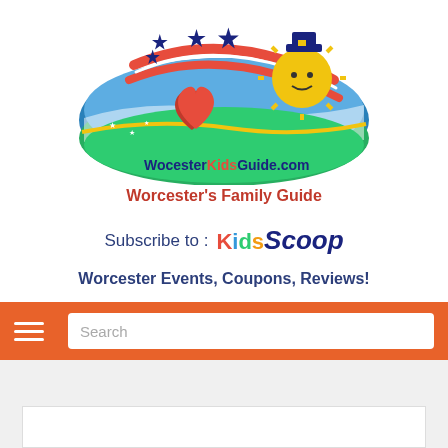[Figure (logo): WocesterKidsGuide.com logo with heart, stars, American flag swoosh, and cartoon sun wearing a pilgrim hat]
Worcester's Family Guide
Subscribe to : KidsScoop
Worcester Events, Coupons, Reviews!
[Figure (screenshot): Orange navigation bar with hamburger menu icon and search input field]